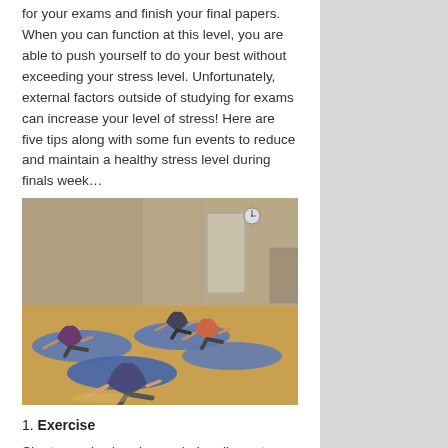for your exams and finish your final papers. When you can function at this level, you are able to push yourself to do your best without exceeding your stress level. Unfortunately, external factors outside of studying for exams can increase your level of stress! Here are five tips along with some fun events to reduce and maintain a healthy stress level during finals week…
[Figure (photo): People doing Pilates/core exercises on blue yoga mats on a hardwood gym floor]
1. Exercise
Short exercise breaks can help relieve stress, socialize, and burn off the extra sugary calories you may consume. Take a jog downtown, ride your bike